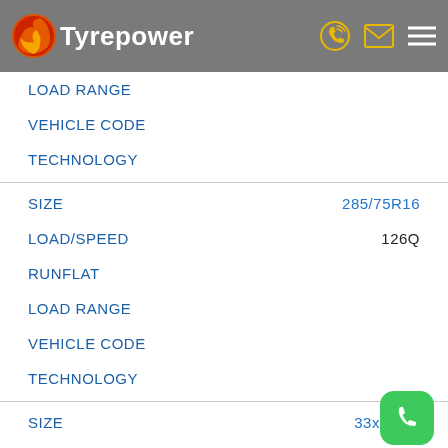Tyrepower
LOAD RANGE
VEHICLE CODE
TECHNOLOGY
SIZE  285/75R16
LOAD/SPEED  126Q
RUNFLAT
LOAD RANGE
VEHICLE CODE
TECHNOLOGY
SIZE  33x12.50
LOAD/SPEED  120Q